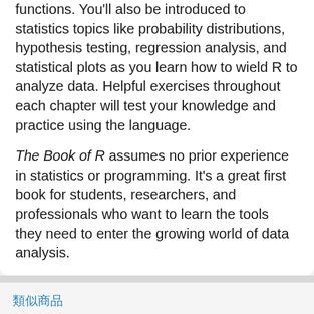functions. You'll also be introduced to statistics topics like probability distributions, hypothesis testing, regression analysis, and statistical plots as you learn how to wield R to analyze data. Helpful exercises throughout each chapter will test your knowledge and practice using the language.
The Book of R assumes no prior experience in statistics or programming. It's a great first book for students, researchers, and professionals who want to learn the tools they need to enter the growing world of data analysis.
類似商品
[Figure (illustration): Book cover: 'Using R for Statistics' with VIP 95折 badge, dark background with red gradient]
[Figure (illustration): Book cover: 'Doing Bayesian Data Analysis' with VIP 95折 badge, white cover with dog illustrations]